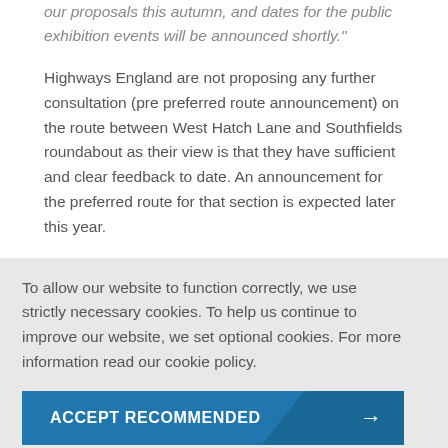our proposals this autumn, and dates for the public exhibition events will be announced shortly."
Highways England are not proposing any further consultation (pre preferred route announcement) on the route between West Hatch Lane and Southfields roundabout as their view is that they have sufficient and clear feedback to date. An announcement for the preferred route for that section is expected later this year.
To allow our website to function correctly, we use strictly necessary cookies. To help us continue to improve our website, we set optional cookies. For more information read our cookie policy.
ACCEPT RECOMMENDED